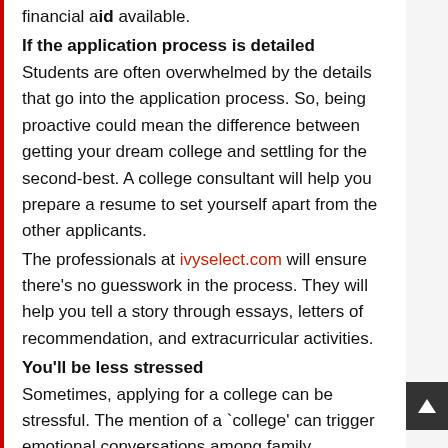financial aid available.
If the application process is detailed
Students are often overwhelmed by the details that go into the application process. So, being proactive could mean the difference between getting your dream college and settling for the second-best. A college consultant will help you prepare a resume to set yourself apart from the other applicants.
The professionals at ivyselect.com will ensure there's no guesswork in the process. They will help you tell a story through essays, letters of recommendation, and extracurricular activities.
You'll be less stressed
Sometimes, applying for a college can be stressful. The mention of a `college' can trigger emotional conversations among family members. If you work